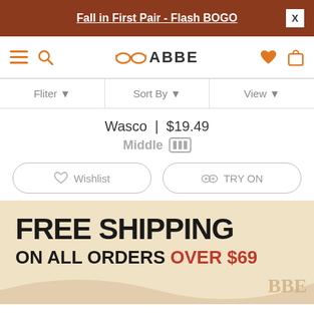Fall in First Pair - Flash BOGO
[Figure (logo): BABBE eyewear logo with orange glasses icon and 'BABBE' text]
Fliter ▾   Sort By ▾   View ▾
Wasco | $19.49
Middle
Wishlist   TRY ON
[Figure (infographic): Free shipping promotional banner on cream/beige background. Large bold black text reads 'FREE SHIPPING ON ALL ORDERS' with 'OVER $69' in red. Decorative wave and branded box visible at bottom right.]